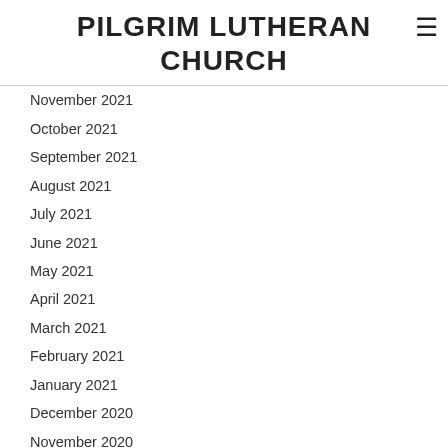PILGRIM LUTHERAN CHURCH
November 2021
October 2021
September 2021
August 2021
July 2021
June 2021
May 2021
April 2021
March 2021
February 2021
January 2021
December 2020
November 2020
October 2020
September 2020
August 2020